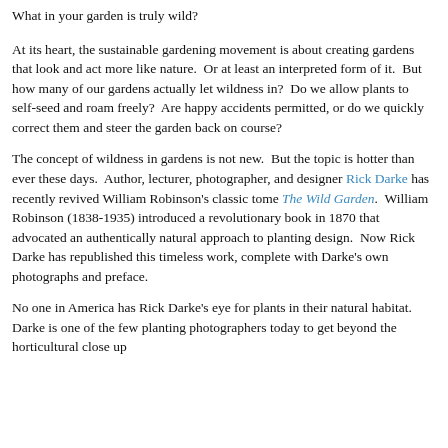What in your garden is truly wild?
At its heart, the sustainable gardening movement is about creating gardens that look and act more like nature.  Or at least an interpreted form of it.  But how many of our gardens actually let wildness in?  Do we allow plants to self-seed and roam freely?  Are happy accidents permitted, or do we quickly correct them and steer the garden back on course?
The concept of wildness in gardens is not new.  But the topic is hotter than ever these days.  Author, lecturer, photographer, and designer Rick Darke has recently revived William Robinson's classic tome The Wild Garden.  William Robinson (1838-1935) introduced a revolutionary book in 1870 that advocated an authentically natural approach to planting design.  Now Rick Darke has republished this timeless work, complete with Darke's own photographs and preface.
No one in America has Rick Darke's eye for plants in their natural habitat. Darke is one of the few planting photographers today to get beyond the horticultural close up